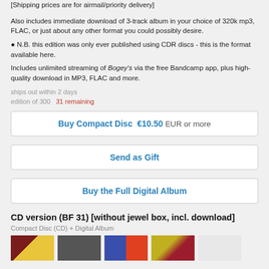[Shipping prices are for airmail/priority delivery]
Also includes immediate download of 3-track album in your choice of 320k mp3, FLAC, or just about any other format you could possibly desire.
● N.B. this edition was only ever published using CDR discs - this is the format available here.
Includes unlimited streaming of Bogey's via the free Bandcamp app, plus high-quality download in MP3, FLAC and more.
ships out within 2 days
edition of 300   31 remaining
Buy Compact Disc  €10.50 EUR or more
Send as Gift
Buy the Full Digital Album
CD version (BF 31) [without jewel box, incl. download]
Compact Disc (CD) + Digital Album
[Figure (photo): Row of 5 album cover thumbnails]